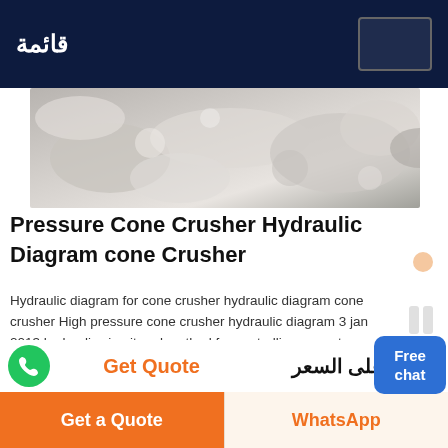قائمة
[Figure (photo): Aerial or close-up view of crushed stone/rocks material from a cone crusher operation, showing grey and white rock fragments]
Pressure Cone Crusher Hydraulic Diagram cone Crusher
Hydraulic diagram for cone crusher hydraulic diagram cone crusher High pressure cone crusher hydraulic diagram 3 jan 2013 hydraulic circuit and method for controlling a gyratory cone crusher pressure threshold the detection pressure threshold being higher than hot news mobile crusher hydraulicdriven track mobile plant , high pressure cone crusher hydraulic diagram
Get Quote
احصل على السعر